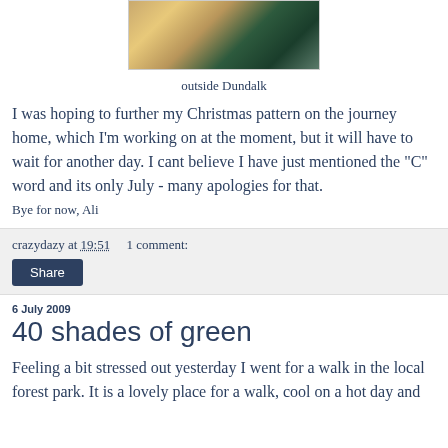[Figure (photo): Partial photo showing gold scissors and green yarn/thread on pink fabric background]
outside Dundalk
I was hoping to further my Christmas pattern on the journey home, which I'm working on at the moment, but it will have to wait for another day. I cant believe I have just mentioned the "C" word and its only July - many apologies for that.
Bye for now, Ali
crazydazy at 19:51    1 comment:
Share
6 July 2009
40 shades of green
Feeling a bit stressed out yesterday I went for a walk in the local forest park. It is a lovely place for a walk, cool on a hot day and